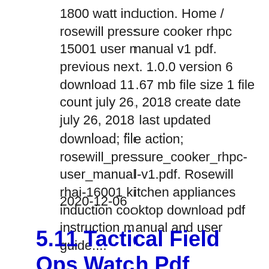1800 watt induction. Home / rosewill pressure cooker rhpc 15001 user manual v1 pdf. previous next. 1.0.0 version 6 download 11.67 mb file size 1 file count july 26, 2018 create date july 26, 2018 last updated download; file action; rosewill_pressure_cooker_rhpc-user_manual-v1.pdf. Rosewill rhai-16001 kitchen appliances induction cooktop download pdf instruction manual and user guide....
2020-12-06
5.11 Tactical Field Ops Watch Pdf